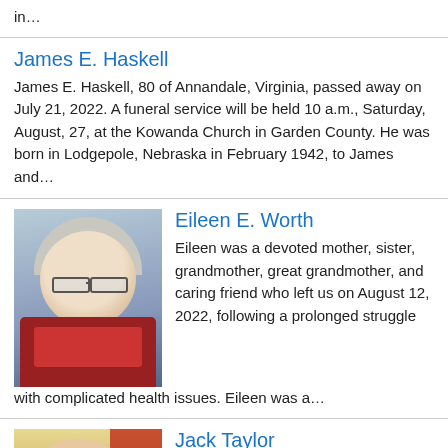in…
James E. Haskell
James E. Haskell, 80 of Annandale, Virginia, passed away on July 21, 2022. A funeral service will be held 10 a.m., Saturday, August, 27, at the Kowanda Church in Garden County. He was born in Lodgepole, Nebraska in February 1942, to James and…
[Figure (photo): Portrait photo of Eileen E. Worth, an elderly woman with glasses and short gray hair wearing a red floral top]
Eileen E. Worth
Eileen was a devoted mother, sister, grandmother, great grandmother, and caring friend who left us on August 12, 2022, following a prolonged struggle with complicated health issues. Eileen was a…
[Figure (photo): Portrait photo of Jack Taylor, a heavyset bald man wearing a light green shirt, with a tan/beige background]
Jack Taylor
Jack Eugene Taylor, age 70, of Lodgepole, passed away peacefully at this home, with family present, on